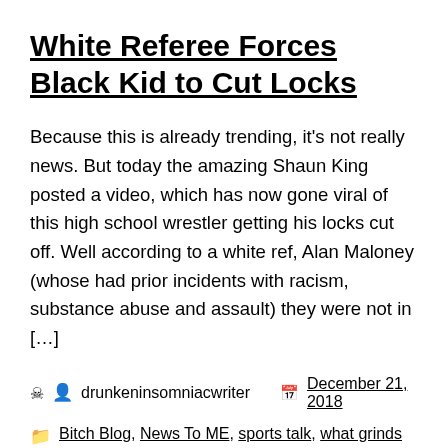White Referee Forces Black Kid to Cut Locks
Because this is already trending, it's not really news. But today the amazing Shaun King posted a video, which has now gone viral of this high school wrestler getting his locks cut off. Well according to a white ref, Alan Maloney (whose had prior incidents with racism, substance abuse and assault) they were not in […]
drunkeninsomniacwriter   December 21, 2018
Bitch Blog, News To ME, sports talk, what grinds my gears
alan maloney, athelete, bitch blog, black, black people,